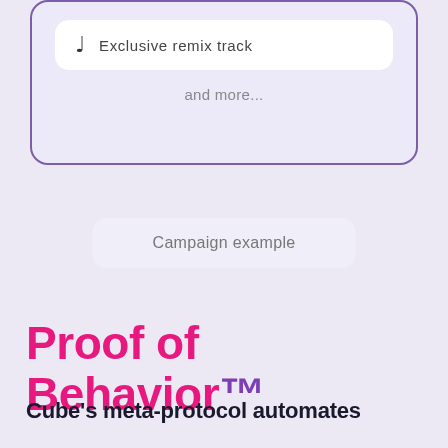Exclusive remix track
and more...
Campaign example
Proof of Behavior™
Cube's meta-protocol automates